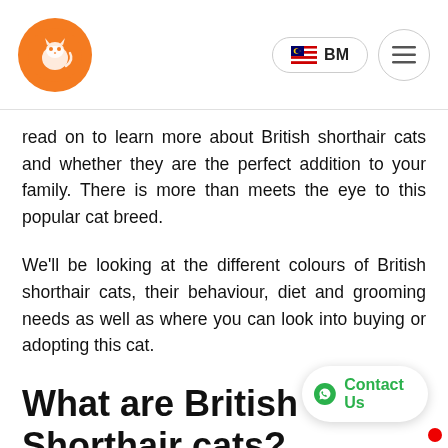Logo | BM | Menu
read on to learn more about British shorthair cats and whether they are the perfect addition to your family. There is more than meets the eye to this popular cat breed.
We'll be looking at the different colours of British shorthair cats, their behaviour, diet and grooming needs as well as where you can look into buying or adopting this cat.
What are British Shorthair cats?
The British Shorthair is one of the breeds. True to its name, it origina Britain, where it was believed to be imported by